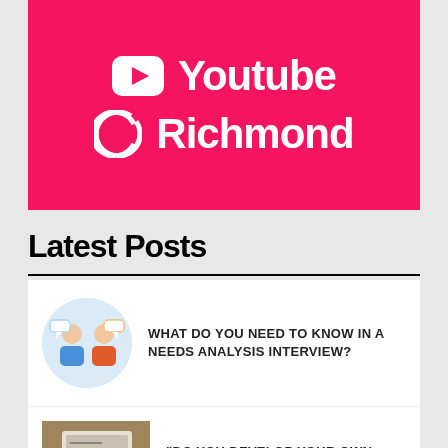[Figure (logo): Pink/red banner with YouTube logo icon and text 'Youtube', and Richmond 'R' logo icon and text 'Richmond' on a hot pink background]
Latest Posts
[Figure (illustration): Circular thumbnail illustration of two people having a conversation, with speech bubbles]
WHAT DO YOU NEED TO KNOW IN A NEEDS ANALYSIS INTERVIEW?
[Figure (photo): Photo of a person working on a laptop with papers and notes]
“DO YOU DEVELOP YOUR OWN MATERIAL...?”